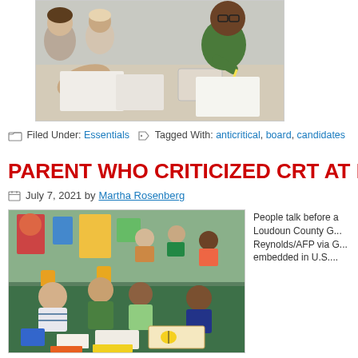[Figure (photo): Children sitting at a table doing schoolwork, partial view cropped at top]
Filed Under: Essentials   Tagged With: anticritical, board, candidates
PARENT WHO CRITICIZED CRT AT ILLIN...
July 7, 2021 by Martha Rosenberg
[Figure (photo): Classroom scene with young children sitting around a green table engaged in an activity, colorful classroom decorations visible in the background]
People talk before a Loudoun County G... Reynolds/AFP via G... embedded in U.S....